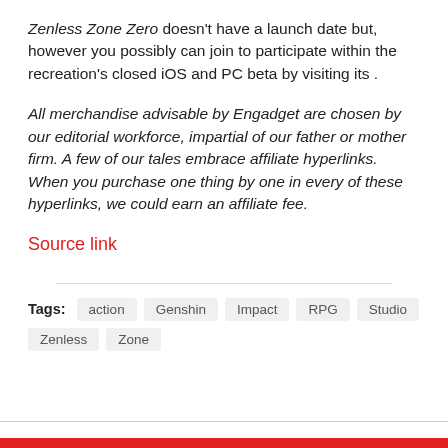Zenless Zone Zero doesn't have a launch date but, however you possibly can join to participate within the recreation's closed iOS and PC beta by visiting its .
All merchandise advisable by Engadget are chosen by our editorial workforce, impartial of our father or mother firm. A few of our tales embrace affiliate hyperlinks. When you purchase one thing by one in every of these hyperlinks, we could earn an affiliate fee.
Source link
Tags: action Genshin Impact RPG Studio Zenless Zone